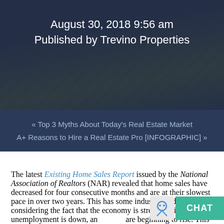[Figure (photo): Aerial view of a home with trees, overlaid with dark blue/navy translucent overlay. Hero image for blog post.]
August 30, 2018 9:56 am
Published by Trevino Properties
« Top 3 Myths About Today's Real Estate Market
A+ Reasons to Hire a Real Estate Pro [INFOGRAPHIC] »
The latest Existing Home Sales Report issued by the National Association of Realtors (NAR) revealed that home sales have decreased for four consecutive months and are at their slowest pace in over two years. This has some industry leaders puzzled considering the fact that the economy is strengthening, unemployment is down, and wages are beginning to rise. This begs the